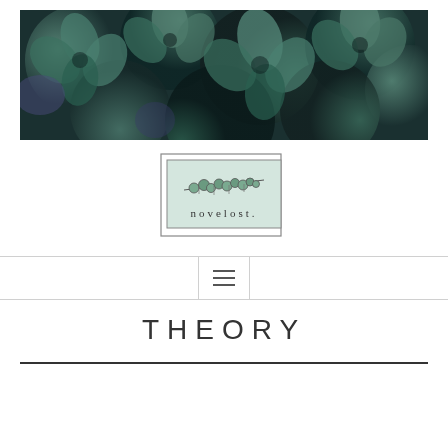[Figure (photo): A close-up photograph of dark teal/green succulent plants filling the frame, showing overlapping rosette-shaped leaves.]
[Figure (logo): The novelost. logo: a light mint-green rectangular box with a double-line border, containing a botanical illustration of a branch with round leaves above the text 'novelost.' in thin spaced serif-style lettering.]
[Figure (infographic): Navigation bar with horizontal lines on either side and a centered hamburger menu icon (three horizontal lines) inside a bordered box.]
THEORY